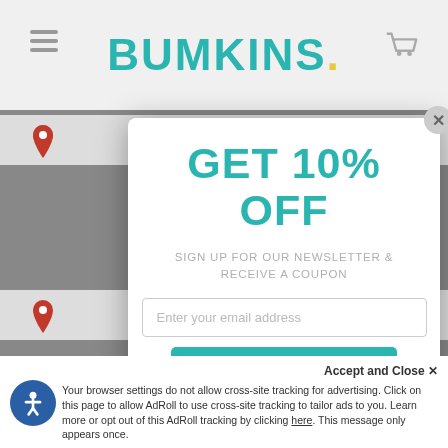[Figure (screenshot): Bumkins website header with hamburger menu, teal logo, and cart icon on light gray background]
[Figure (screenshot): Map location pin rows on gray background]
GET 10% OFF
SIGN UP FOR OUR NEWSLETTER & RECEIVE A COUPON
Enter your email address
SIGN UP!
Accept and Close ✕
Your browser settings do not allow cross-site tracking for advertising. Click on this page to allow AdRoll to use cross-site tracking to tailor ads to you. Learn more or opt out of this AdRoll tracking by clicking here. This message only appears once.